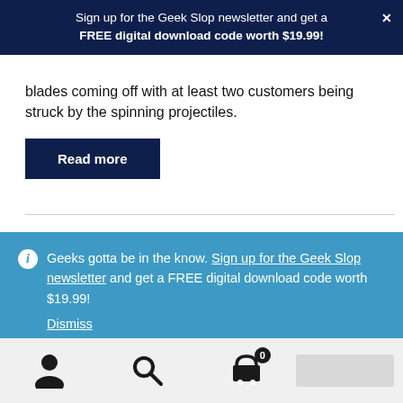Sign up for the Geek Slop newsletter and get a FREE digital download code worth $19.99!
blades coming off with at least two customers being struck by the spinning projectiles.
Read more
Geeks gotta be in the know. Sign up for the Geek Slop newsletter and get a FREE digital download code worth $19.99!
Dismiss